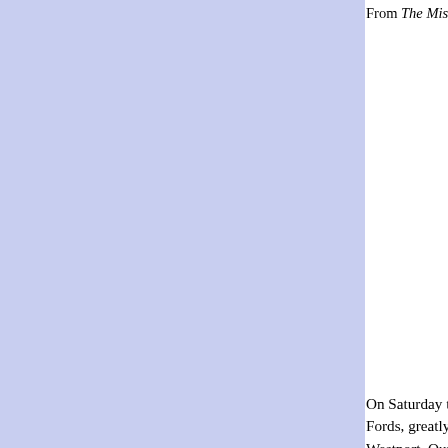From The Missouri Democrat, Monday,
BATTLE O
Signal R
DETAILS OF TH
On Saturday the enemy succeeded in fo Fords, greatly outnumbering our forces Westport. Our loss was considerable in suffering a loss of from one hundred to prisoners. General Curtis, on Saturday a Blue to this city, and Saturday night the point, the advance being at Westport.
The enemy encamped about three miles Price, from all accounts, was himself in Kansas City by Sunday night. Many form them, desirous of wreaking vengeance o yesterday morning the battle commence